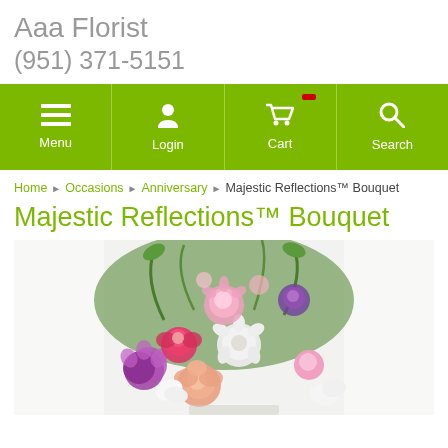Aaa Florist
(951) 371-5151
Menu | Login | Cart | Search
Home > Occasions > Anniversary > Majestic Reflections™ Bouquet
Majestic Reflections™ Bouquet
[Figure (photo): A colorful floral bouquet featuring pink roses, purple carnations, white chrysanthemums, magenta peonies, and various greenery arranged on a white background.]